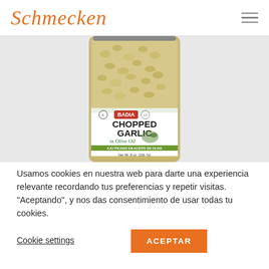Schmecken
[Figure (photo): Badia Chopped Garlic in Olive Oil jar product photo, 8 oz (226.7g)]
Usamos cookies en nuestra web para darte una experiencia relevante recordando tus preferencias y repetir visitas. "Aceptando", y nos das consentimiento de usar todas tu cookies.
Cookie settings
ACEPTAR